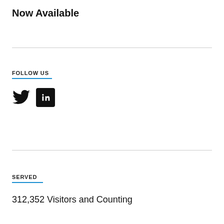Now Available
FOLLOW US
[Figure (illustration): Twitter bird icon and LinkedIn 'in' icon (social media logos)]
SERVED
312,352 Visitors and Counting